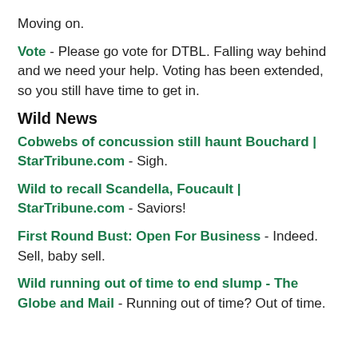Moving on.
Vote - Please go vote for DTBL. Falling way behind and we need your help. Voting has been extended, so you still have time to get in.
Wild News
Cobwebs of concussion still haunt Bouchard | StarTribune.com - Sigh.
Wild to recall Scandella, Foucault | StarTribune.com - Saviors!
First Round Bust: Open For Business - Indeed. Sell, baby sell.
Wild running out of time to end slump - The Globe and Mail - Running out of time? Out of time.